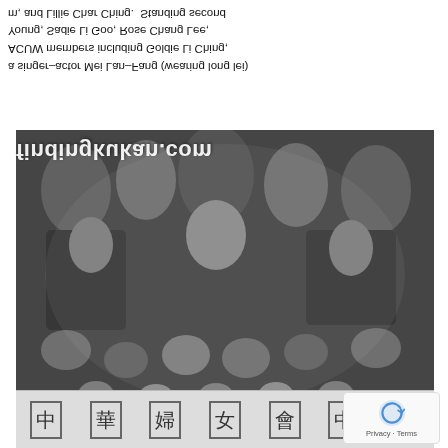a singer-actor Mei Lan-Fang (wearing long lei) ACUW members including Goldie Li Ching, Young, Sadie Li Goo, Rose Chang Lee, m, and Lillie Char Ching. Standing second
[Figure (photo): Inverted/upside-down black and white group photograph showing many people, likely performers or community members, with Chinese character banners visible at the bottom of the image. Watermark 'findingkukan.com' overlaid on the image.]
findingkukan.com